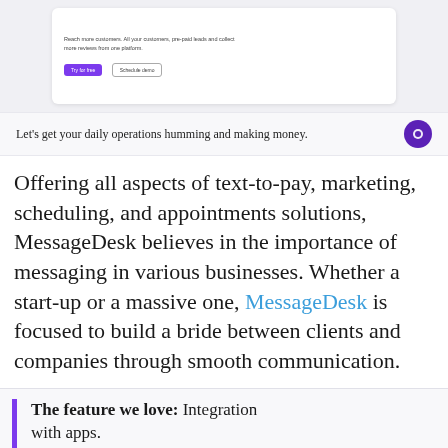[Figure (screenshot): Screenshot of a web application UI showing text about collecting reviews, with a purple 'Try for free' button and a 'Schedule demo' button, plus a partial image of a person reading a tablet on the right side.]
Let's get your daily operations humming and making money.
Offering all aspects of text-to-pay, marketing, scheduling, and appointments solutions, MessageDesk believes in the importance of messaging in various businesses. Whether a start-up or a massive one, MessageDesk is focused to build a bride between clients and companies through smooth communication.
The feature we love: Integration with apps.